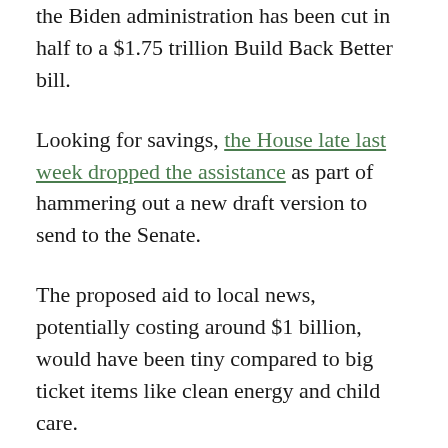the Biden administration has been cut in half to a $1.75 trillion Build Back Better bill.
Looking for savings, the House late last week dropped the assistance as part of hammering out a new draft version to send to the Senate.
The proposed aid to local news, potentially costing around $1 billion, would have been tiny compared to big ticket items like clean energy and child care.